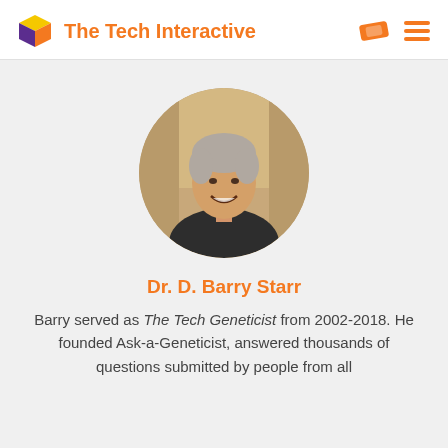The Tech Interactive
[Figure (photo): Circular portrait photo of Dr. D. Barry Starr, a middle-aged man with short grey hair, smiling, wearing a dark shirt, photographed outdoors with stone archway background]
Dr. D. Barry Starr
Barry served as The Tech Geneticist from 2002-2018. He founded Ask-a-Geneticist, answered thousands of questions submitted by people from all